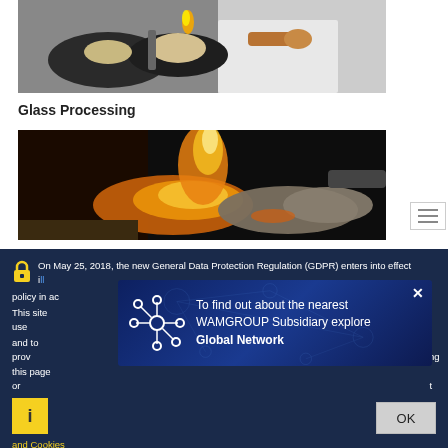[Figure (photo): Worker using a torch or welding tool on glass/metal components, wearing gloves, close-up industrial scene]
Glass Processing
[Figure (photo): Industrial glassworking scene with bright orange/yellow molten glass being handled with heat-resistant gloves in a dark workshop]
On May 25, 2018, the new General Data Protection Regulation (GDPR) enters into effect in all EU member states. We updated our privacy policy in ac...
This site uses cookies to improve your experience and to provide services and advertising. By continuing to navigate this page or by clicking Accept you agree to our use. Visit to learn more about our Privacy Policy and Cookies
[Figure (infographic): WAMGROUP popup: To find out about the nearest WAMGROUP Subsidiary explore Global Network, with network node icon on dark blue background]